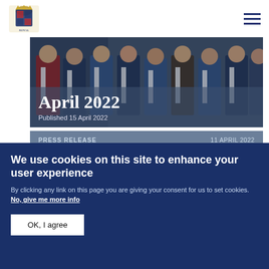Royal logo and navigation menu
[Figure (photo): Hero image showing figures in formal robes with text overlay 'April 2022' and 'Published 15 April 2022']
April 2022
Published 15 April 2022
PRESS RELEASE   11 APRIL 2022
The Prince of Wales and The Duchess of Cornwall will visit Canada
We use cookies on this site to enhance your user experience
By clicking any link on this page you are giving your consent for us to set cookies. No, give me more info
OK, I agree